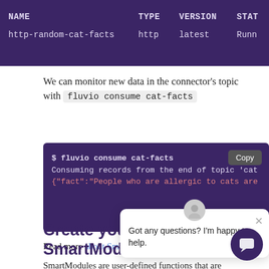| NAME | TYPE | VERSION | STAT |
| --- | --- | --- | --- |
| http-random-cat-facts | http | latest | Runn |
We can monitor new data in the connector's topic with fluvio consume cat-facts
[Figure (screenshot): Terminal code block showing: $ fluvio consume cat-facts / Consuming records from the end of topic 'cat / {"fact":"People who are allergic to cats are]
Read more about Smar
Create your first SmartModule
SmartModules are user-defined functions that are
[Figure (other): Chat popup with avatar and message: Got any questions? I'm happy to help.]